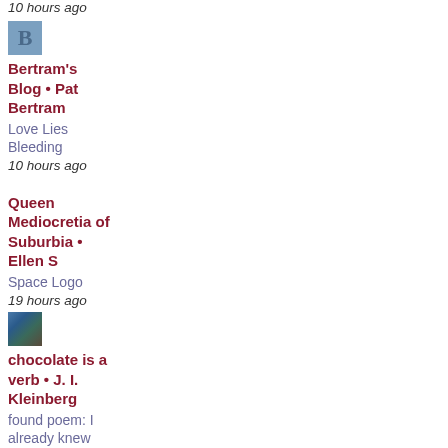10 hours ago
[Figure (logo): Blue square avatar with letter B]
Bertram's Blog • Pat Bertram
Love Lies Bleeding
10 hours ago
Queen Mediocretia of Suburbia • Ellen S
Space Logo
19 hours ago
[Figure (photo): Small square profile photo with dark colors]
chocolate is a verb • J. I. Kleinberg
found poem: I already knew
2 days ago
[Figure (logo): Orange square Blogger icon]
Susan's Poetry • Susan L.